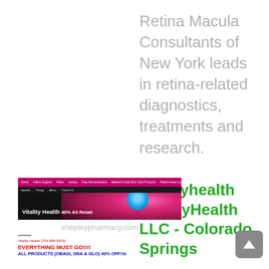Retina Macula Consultants of New York leads in retina-related diagnostics, treatments and research.
[Figure (screenshot): Screenshot of a website showing a pink flower with the text 'Vitality Health 40% All Retail' on a dark background, with navigation bar in magenta.]
shepleypharmacy.com
EVERYTHING MUST GO!!!!
ALL PRODUCTS (OBAGI, DNA & GLO) 40% OFF!!b
vitalityhealth VitalityHealth LLC - Colorado Springs